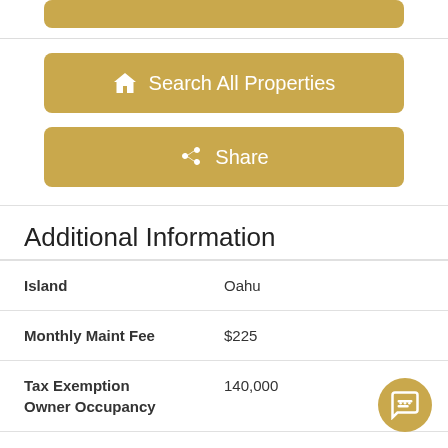[Figure (other): Gold button partially visible at top of page]
Search All Properties
Share
Additional Information
| Field | Value |
| --- | --- |
| Island | Oahu |
| Monthly Maint Fee | $225 |
| Tax Exemption Owner Occupancy | 140,000 |
| Stories Type | Three+ |